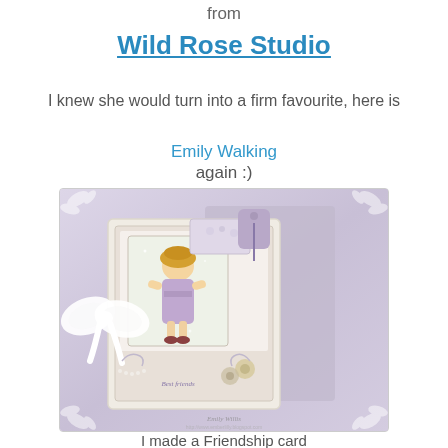from
Wild Rose Studio
I knew she would turn into a firm favourite, here is
Emily Walking
again :)
[Figure (photo): A decorative handmade friendship card featuring a stamped image of a little girl (Emily Walking) in a purple dress with a yellow hat, adorned with a large white satin ribbon bow, paper flowers, pearls, and glitter embellishments. The card is displayed at an angle on a purple/lavender patterned background with white floral corner decorations.]
I made a Friendship card